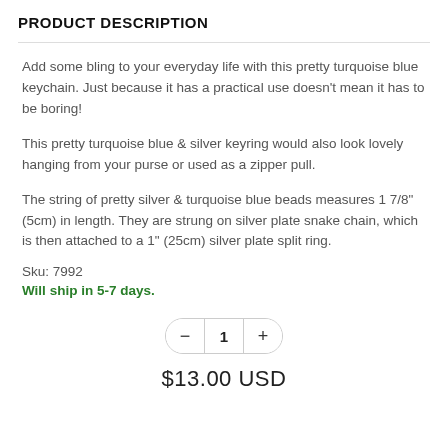PRODUCT DESCRIPTION
Add some bling to your everyday life with this pretty turquoise blue keychain. Just because it has a practical use doesn't mean it has to be boring!
This pretty turquoise blue & silver keyring would also look lovely hanging from your purse or used as a zipper pull.
The string of pretty silver & turquoise blue beads measures 1 7/8" (5cm) in length. They are strung on silver plate snake chain, which is then attached to a 1" (25cm) silver plate split ring.
Sku: 7992
Will ship in 5-7 days.
1
$13.00 USD